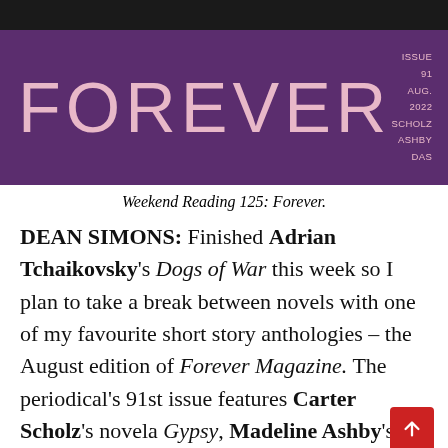[Figure (photo): Cover of Forever Magazine, Issue 91, Aug. 2022. Dark purple background with large light pink text reading FOREVER. Top right shows: ISSUE 91 / AUG. 2022 / SCHOLZ / ASHBY / DAS.]
Weekend Reading 125: Forever.
DEAN SIMONS: Finished Adrian Tchaikovsky's Dogs of War this week so I plan to take a break between novels with one of my favourite short story anthologies – the August edition of Forever Magazine. The periodical's 91st issue features Carter Scholz's novela Gypsy, Madeline Ashby's